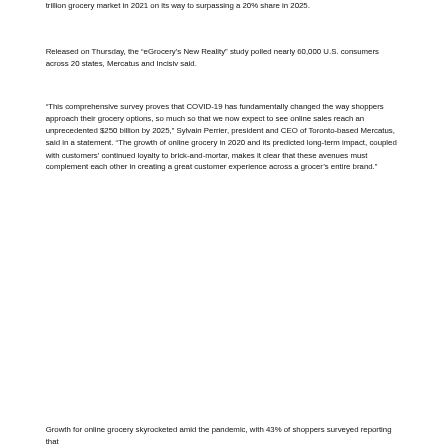trillion grocery market in 2021 on its way to surpassing a 20% share in 2025.
Released on Thursday, the “eGrocery’s New Reality” study polled nearly 60,000 U.S. consumers across 20 states, Mercatus and Incisiv said.
“This comprehensive survey proves that COVID-19 has fundamentally changed the way shoppers approach their grocery options, so much so that we now expect to see online sales reach an unprecedented $250 billion by 2025,” Sylvain Perrier, president and CEO of Toronto-based Mercatus, said in a statement. “The growth of online grocery in 2020 and its predicted long-term impact, coupled with customers’ continued loyalty to brick-and-mortar, makes it clear that these avenues must complement each other in creating a great customer experience across a grocer’s entire brand.”
Growth for online grocery skyrocketed amid the pandemic, with 43% of shoppers surveyed reporting that